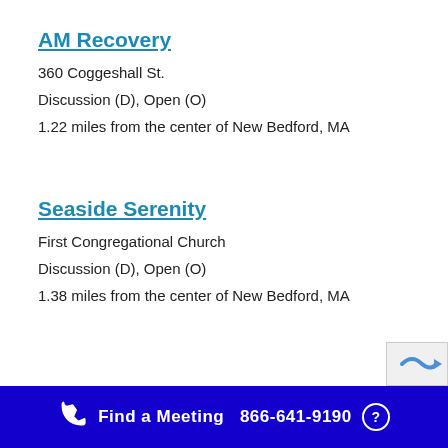AM Recovery
360 Coggeshall St.
Discussion (D), Open (O)
1.22 miles from the center of New Bedford, MA
Seaside Serenity
First Congregational Church
Discussion (D), Open (O)
1.38 miles from the center of New Bedford, MA
Find a Meeting  866-641-9190